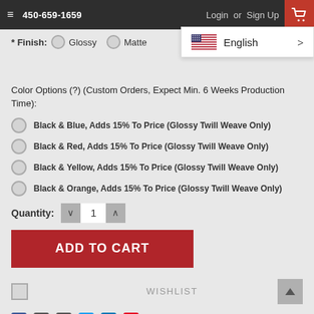≡  450-659-1659  Login or Sign Up  🛒
[Figure (screenshot): Language selector dropdown showing US flag and 'English >' option]
* Finish:  ○ Glossy  ○ Matte
Color Options (?) (Custom Orders, Expect Min. 6 Weeks Production Time):
Black & Blue, Adds 15% To Price (Glossy Twill Weave Only)
Black & Red, Adds 15% To Price (Glossy Twill Weave Only)
Black & Yellow, Adds 15% To Price (Glossy Twill Weave Only)
Black & Orange, Adds 15% To Price (Glossy Twill Weave Only)
Quantity:  1
ADD TO CART
WISHLIST
[Figure (other): Social sharing icons: Facebook, Email, Print, Twitter, LinkedIn, Pinterest]